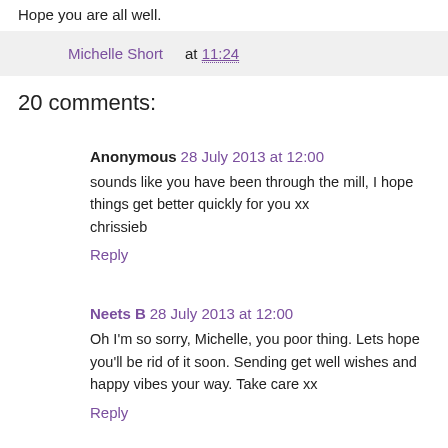Hope you are all well.
Michelle Short at 11:24
20 comments:
Anonymous 28 July 2013 at 12:00
sounds like you have been through the mill, I hope things get better quickly for you xx
chrissieb
Reply
Neets B 28 July 2013 at 12:00
Oh I'm so sorry, Michelle, you poor thing. Lets hope you'll be rid of it soon. Sending get well wishes and happy vibes your way. Take care xx
Reply